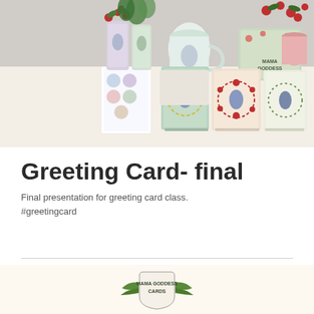[Figure (photo): A display of greeting cards, mugs, tumblers, and other merchandise featuring illustrated women figures surrounded by floral designs. Items are arranged on a table with a decorative tablecloth. Colors include teal, pink, red, and cream. A 'Mama Goddess' branded box is visible.]
Greeting Card- final
Final presentation for greeting card class.
#greetingcard
[Figure (logo): Mama Goddess Cards logo showing stylized green leaves/wings on either side of text reading 'MAMA GODDESS CARDS' in a shield-like emblem shape]